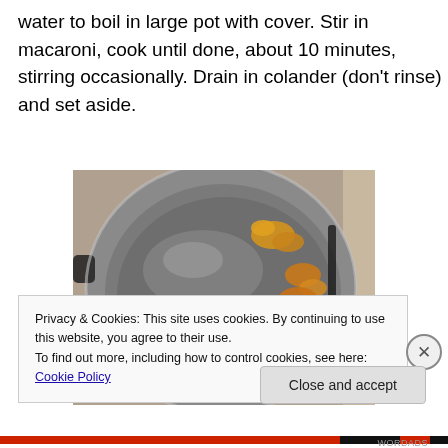water to boil in large pot with cover. Stir in macaroni, cook until done, about 10 minutes, stirring occasionally. Drain in colander (don't rinse) and set aside.
[Figure (photo): A stainless steel pot viewed from above containing cooked macaroni pieces with a yellowish color sitting in residual cooking water.]
Privacy & Cookies: This site uses cookies. By continuing to use this website, you agree to their use.
To find out more, including how to control cookies, see here: Cookie Policy
Close and accept